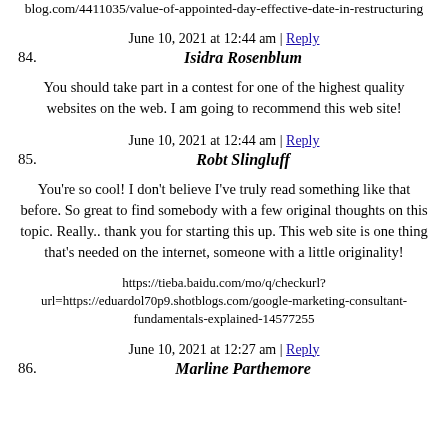blog.com/4411035/value-of-appointed-day-effective-date-in-restructuring
June 10, 2021 at 12:44 am | Reply
84. Isidra Rosenblum
You should take part in a contest for one of the highest quality websites on the web. I am going to recommend this web site!
June 10, 2021 at 12:44 am | Reply
85. Robt Slingluff
You're so cool! I don't believe I've truly read something like that before. So great to find somebody with a few original thoughts on this topic. Really.. thank you for starting this up. This web site is one thing that's needed on the internet, someone with a little originality!
https://tieba.baidu.com/mo/q/checkurl?url=https://eduardol70p9.shotblogs.com/google-marketing-consultant-fundamentals-explained-14577255
June 10, 2021 at 12:27 am | Reply
86. Marline Parthemore